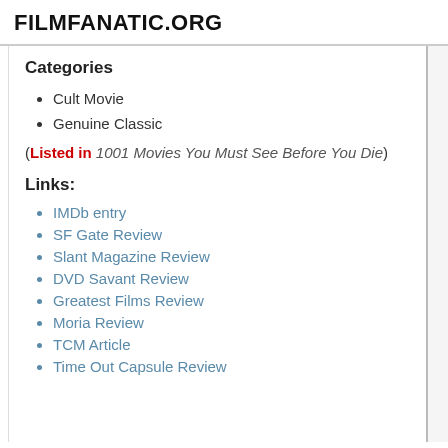FILMFANATIC.ORG
Categories
Cult Movie
Genuine Classic
(Listed in 1001 Movies You Must See Before You Die)
Links:
IMDb entry
SF Gate Review
Slant Magazine Review
DVD Savant Review
Greatest Films Review
Moria Review
TCM Article
Time Out Capsule Review